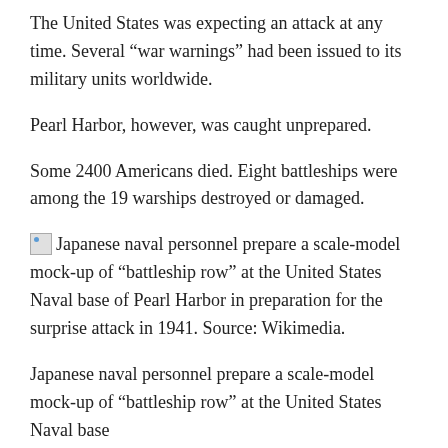The United States was expecting an attack at any time. Several “war warnings” had been issued to its military units worldwide.
Pearl Harbor, however, was caught unprepared.
Some 2400 Americans died. Eight battleships were among the 19 warships destroyed or damaged.
[Figure (photo): Broken image placeholder icon for a photo of Japanese naval personnel preparing a scale-model mock-up of ‘battleship row’ at the United States Naval base of Pearl Harbor in preparation for the surprise attack in 1941. Source: Wikimedia.]
Japanese naval personnel prepare a scale-model mock-up of “battleship row” at the United States Naval base of Pearl Harbor in preparation for the surprise attack in 1941. Source: Wikimedia.
Japanese naval personnel prepare a scale-model mock-up of “battleship row” at the United States Naval base